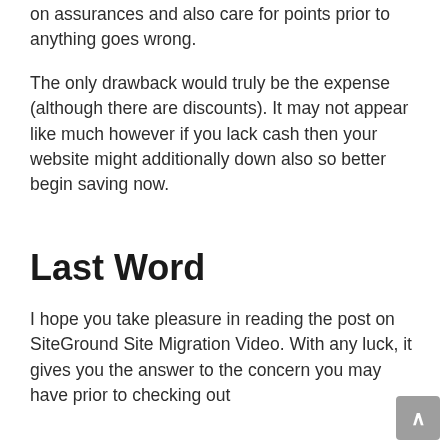on assurances and also care for points prior to anything goes wrong.
The only drawback would truly be the expense (although there are discounts). It may not appear like much however if you lack cash then your website might additionally down also so better begin saving now.
Last Word
I hope you take pleasure in reading the post on SiteGround Site Migration Video. With any luck, it gives you the answer to the concern you may have prior to checking out